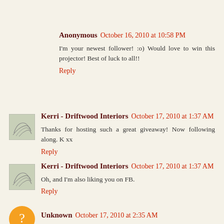Anonymous October 16, 2010 at 10:58 PM
I'm your newest follower! :o) Would love to win this projector! Best of luck to all!!
Reply
Kerri - Driftwood Interiors October 17, 2010 at 1:37 AM
Thanks for hosting such a great giveaway! Now following along. K xx
Reply
Kerri - Driftwood Interiors October 17, 2010 at 1:37 AM
Oh, and I'm also liking you on FB.
Reply
Unknown October 17, 2010 at 2:35 AM